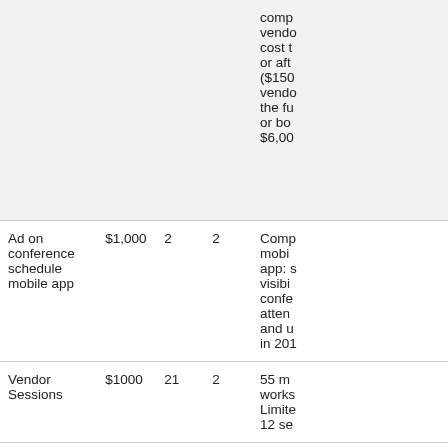| Item | Cost | Col3 | Col4 | Description |
| --- | --- | --- | --- | --- |
|  |  |  |  | comp vendor cost t or aft ($150 vendo the fu or bo $6,00 |
| Ad on conference schedule mobile app | $1,000 | 2 | 2 | Comp mobi app: s visibi confe atten and u in 201 |
| Vendor Sessions | $1000 | 21 | 2 | 55 m works Limite 12 se |